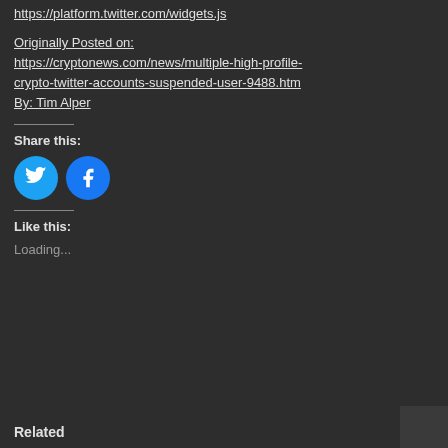https://platform.twitter.com/widgets.js
Originally Posted on:
https://cryptonews.com/news/multiple-high-profile-crypto-twitter-accounts-suspended-user-9488.htm
By: Tim Alper
Share this:
[Figure (other): Twitter and Facebook social share buttons (round icons)]
Like this:
Loading...
Related